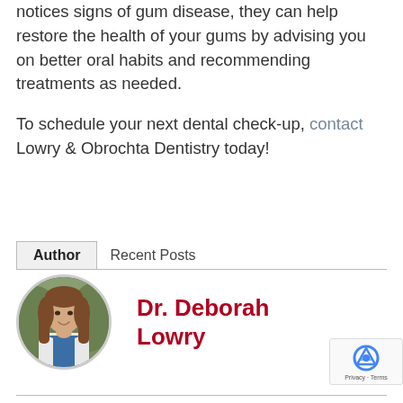notices signs of gum disease, they can help restore the health of your gums by advising you on better oral habits and recommending treatments as needed.
To schedule your next dental check-up, contact Lowry & Obrochta Dentistry today!
Author | Recent Posts
[Figure (photo): Circular portrait photo of Dr. Deborah Lowry, a woman in a white lab coat with long brown hair, smiling, outdoors with green background.]
Dr. Deborah Lowry